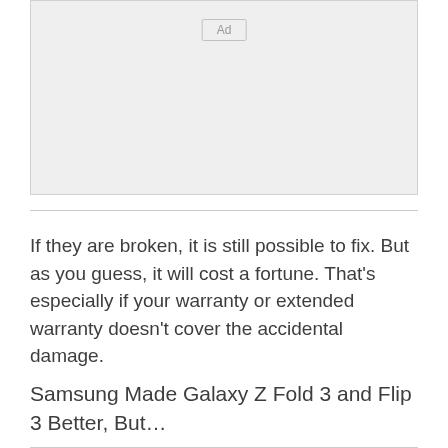[Figure (other): Advertisement placeholder box with 'Ad' label button centered at top]
If they are broken, it is still possible to fix. But as you guess, it will cost a fortune. That's especially if your warranty or extended warranty doesn't cover the accidental damage.
Samsung Made Galaxy Z Fold 3 and Flip 3 Better, But…